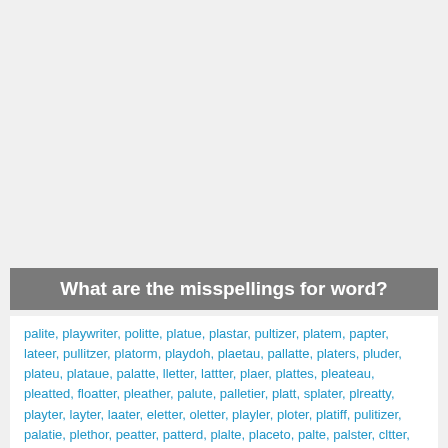What are the misspellings for word?
palite, playwriter, politte, platue, plastar, pultizer, platem, papter, lateer, pullitzer, platorm, playdoh, plaetau, pallatte, platers, pluder, plateu, plataue, palatte, lletter, lattter, plaer, plattes, pleateau, pleatted, floatter, pleather, palute, palletier, platt, splater, plreatty, playter, layter, laater, eletter, oletter, playler, ploter, platiff, pulitizer, palatie, plethor, peatter, patterd, plalte, placeto, palte, palster, cltter, altter, platry, plauteau, platou, leatter, playtrough, pletty, eleltter, platten, platoue, plether,